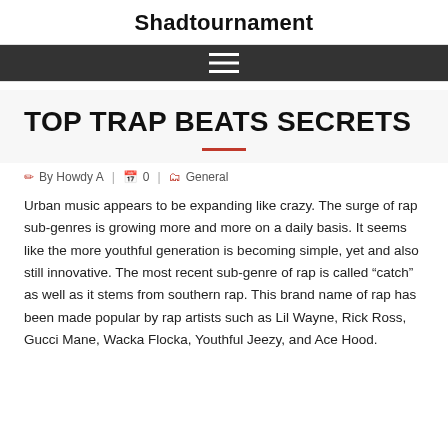Shadtournament
TOP TRAP BEATS SECRETS
By Howdy A  |  0  |  General
Urban music appears to be expanding like crazy. The surge of rap sub-genres is growing more and more on a daily basis. It seems like the more youthful generation is becoming simple, yet and also still innovative. The most recent sub-genre of rap is called “catch” as well as it stems from southern rap. This brand name of rap has been made popular by rap artists such as Lil Wayne, Rick Ross, Gucci Mane, Wacka Flocka, Youthful Jeezy, and Ace Hood.